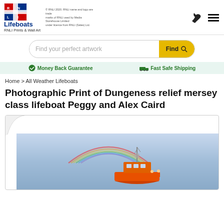RNLI Lifeboats Prints & Wall Art
Find your perfect artwork
Money Back Guarantee   Fast Safe Shipping
Home > All Weather Lifeboats
Photographic Print of Dungeness relief mersey class lifeboat Peggy and Alex Caird
[Figure (photo): Photograph of Dungeness relief mersey class lifeboat Peggy and Alex Caird on the water with a rainbow arc behind it, shown in a curled-corner print frame.]